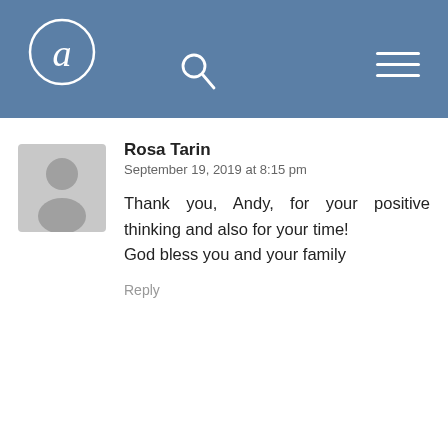[Figure (logo): Circular logo with a stylized letter 'a' in white on a blue-grey background header bar]
Rosa Tarin
September 19, 2019 at 8:15 pm
Thank you, Andy, for your positive thinking and also for your time!
God bless you and your family
Reply